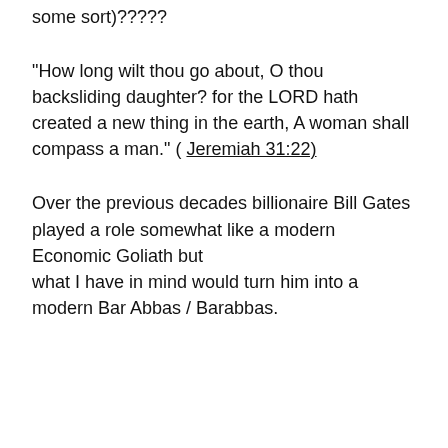some sort)?????
"How long wilt thou go about, O thou backsliding daughter? for the LORD hath created a new thing in the earth, A woman shall compass a man." ( Jeremiah 31:22)
Over the previous decades billionaire Bill Gates played a role somewhat like a modern Economic Goliath but what I have in mind would turn him into a modern Bar Abbas / Barabbas.